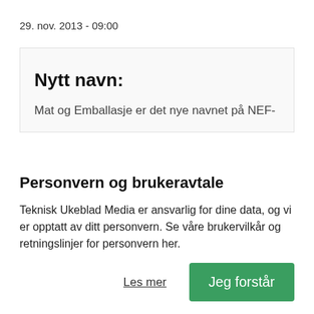29. nov. 2013 - 09:00
Nytt navn:
Mat og Emballasje er det nye navnet på NEF-
Personvern og brukeravtale
Teknisk Ukeblad Media er ansvarlig for dine data, og vi er opptatt av ditt personvern. Se våre brukervilkår og retningslinjer for personvern her.
Les mer
Jeg forstår